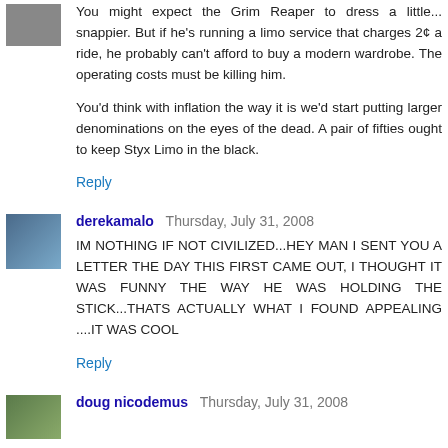You might expect the Grim Reaper to dress a little... snappier. But if he's running a limo service that charges 2¢ a ride, he probably can't afford to buy a modern wardrobe. The operating costs must be killing him.
You'd think with inflation the way it is we'd start putting larger denominations on the eyes of the dead. A pair of fifties ought to keep Styx Limo in the black.
Reply
derekamalo  Thursday, July 31, 2008
IM NOTHING IF NOT CIVILIZED...HEY MAN I SENT YOU A LETTER THE DAY THIS FIRST CAME OUT, I THOUGHT IT WAS FUNNY THE WAY HE WAS HOLDING THE STICK...THATS ACTUALLY WHAT I FOUND APPEALING ....IT WAS COOL
Reply
doug nicodemus  Thursday, July 31, 2008